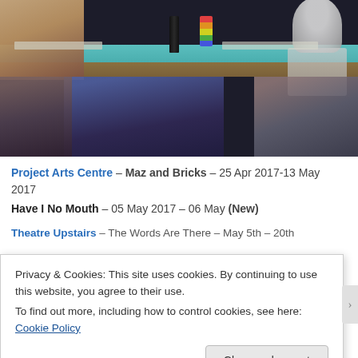[Figure (photo): Theatre stage photo showing performers behind a teal/turquoise table. Left person in floral top using laptop, center person in denim shorts, right side shows a cardboard cutout figure. A black spray bottle and colorful stacked item are on the table. Dark background.]
Project Arts Centre – Maz and Bricks – 25 Apr 2017-13 May 2017
Have I No Mouth – 05 May 2017 – 06 May (New)
Theatre Upstairs – The Words Are There – May 5th – 20th
Privacy & Cookies: This site uses cookies. By continuing to use this website, you agree to their use.
To find out more, including how to control cookies, see here: Cookie Policy
Close and accept